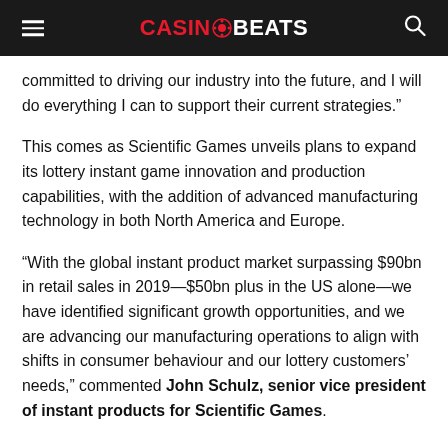CASINOBEATS
committed to driving our industry into the future, and I will do everything I can to support their current strategies.”
This comes as Scientific Games unveils plans to expand its lottery instant game innovation and production capabilities, with the addition of advanced manufacturing technology in both North America and Europe.
“With the global instant product market surpassing $90bn in retail sales in 2019—$50bn plus in the US alone—we have identified significant growth opportunities, and we are advancing our manufacturing operations to align with shifts in consumer behaviour and our lottery customers’ needs,” commented John Schulz, senior vice president of instant products for Scientific Games.